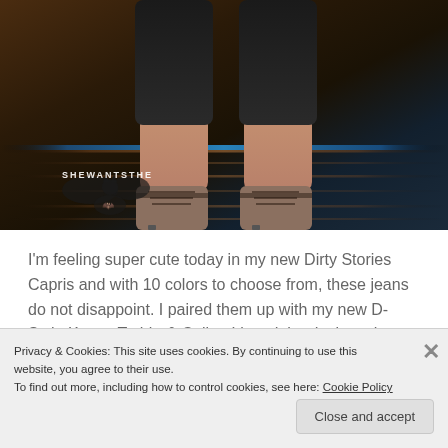[Figure (screenshot): Video game screenshot showing lower legs and feet of a female character wearing black capri pants and open-toe heeled shoes, standing on a wooden floor. Watermark text 'SHEWANTSTHE' with bat symbol visible in lower left.]
I'm feeling super cute today in my new Dirty Stories Capris and with 10 colors to choose from, these jeans do not disappoint. I paired them up with my new D-Style Knotty T-shirt & Collar. I loved the designs that...
Privacy & Cookies: This site uses cookies. By continuing to use this website, you agree to their use.
To find out more, including how to control cookies, see here: Cookie Policy
Close and accept